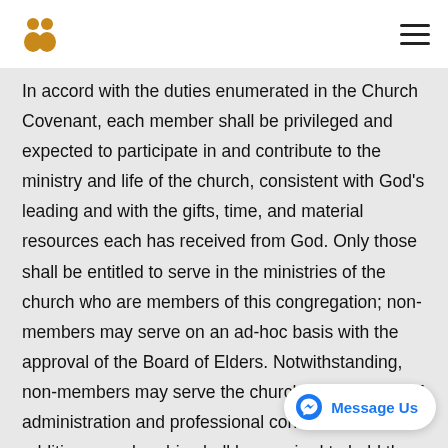[Figure (logo): Golden figure/person logo icon in top left]
[Figure (other): Hamburger menu icon (three horizontal lines) in top right]
In accord with the duties enumerated in the Church Covenant, each member shall be privileged and expected to participate in and contribute to the ministry and life of the church, consistent with God’s leading and with the gifts, time, and material resources each has received from God. Only those shall be entitled to serve in the ministries of the church who are members of this congregation; non-members may serve on an ad-hoc basis with the approval of the Board of Elders. Notwithstanding, non-members may serve the church for purposes of administration and professional consultation. In addition, membership shall be required to hold the office of elder or deac… elders or deacons, to vote on such matters presented to
[Figure (other): Facebook Messenger 'Message Us' chat button overlay in bottom right corner]